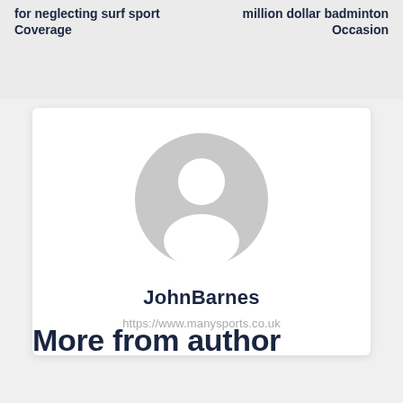for neglecting surf sport Coverage
million dollar badminton Occasion
[Figure (illustration): Generic gray user avatar icon — circular head and shoulders silhouette on white background]
JohnBarnes
https://www.manysports.co.uk
More from author